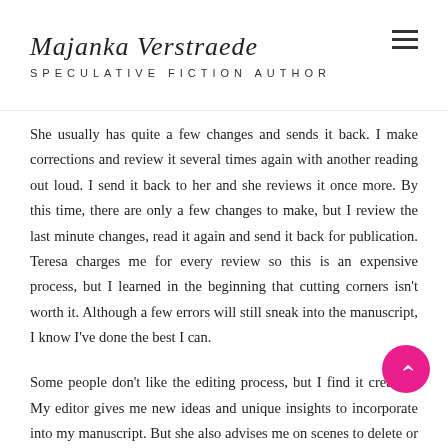Majanka Verstraete
SPECULATIVE FICTION AUTHOR
She usually has quite a few changes and sends it back. I make corrections and review it several times again with another reading out loud. I send it back to her and she reviews it once more. By this time, there are only a few changes to make, but I review the last minute changes, read it again and send it back for publication. Teresa charges me for every review so this is an expensive process, but I learned in the beginning that cutting corners isn't worth it. Although a few errors will still sneak into the manuscript, I know I've done the best I can.
Some people don't like the editing process, but I find it creative. My editor gives me new ideas and unique insights to incorporate into my manuscript. But she also advises me on scenes to delete or characters to remove. Sometimes, she's right, but sometimes I want to keep the